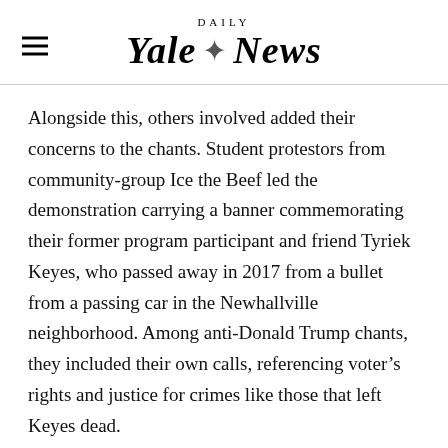Yale Daily News
Alongside this, others involved added their concerns to the chants. Student protestors from community-group Ice the Beef led the demonstration carrying a banner commemorating their former program participant and friend Tyriek Keyes, who passed away in 2017 from a bullet from a passing car in the Newhallville neighborhood. Among anti-Donald Trump chants, they included their own calls, referencing voter’s rights and justice for crimes like those that left Keyes dead.
One student who helped lead the chants, 19-year-old Elaine Lester, told the News that Ice the Beef students came out to the protest as a way to ensure that the story of